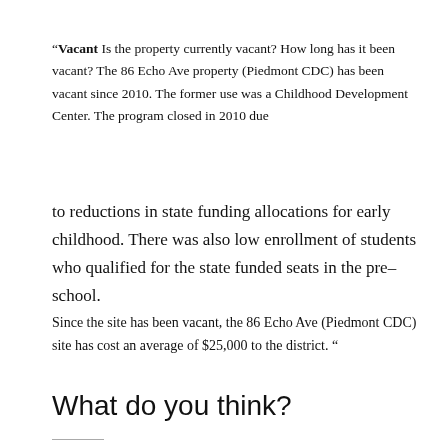“Vacant Is the property currently vacant? How long has it been vacant? The 86 Echo Ave property (Piedmont CDC) has been vacant since 2010. The former use was a Childhood Development Center. The program closed in 2010 due
to reductions in state funding allocations for early childhood. There was also low enrollment of students who qualified for the state funded seats in the pre- school.
Since the site has been vacant, the 86 Echo Ave (Piedmont CDC) site has cost an average of $25,000 to the district. “
What do you think?